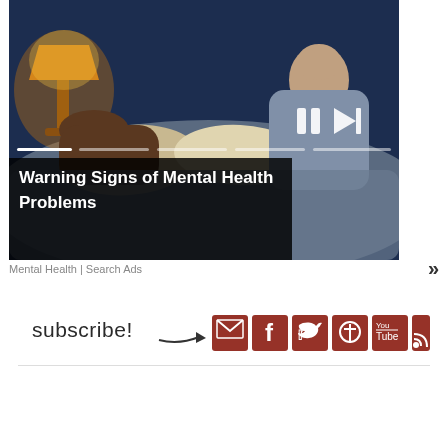[Figure (photo): Slideshow image showing two people in bed in dim blue lighting with a lamp glowing, with video player controls (pause and skip buttons) and progress bar segments overlaid. Title overlay reads 'Warning Signs of Mental Health Problems'.]
Mental Health | Search Ads
[Figure (infographic): Subscribe call-to-action with handwritten 'subscribe!' text and arrow, followed by social media icon buttons for Email, Facebook, Twitter, Pinterest, YouTube, and RSS in dark red/brown squares.]